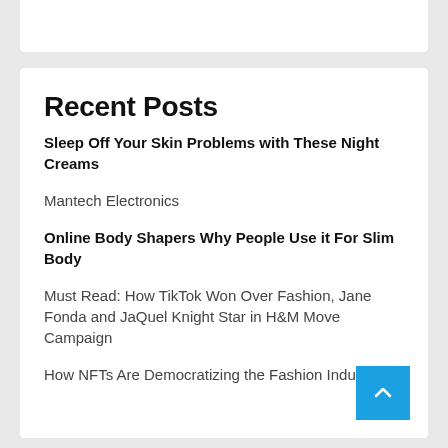Recent Posts
Sleep Off Your Skin Problems with These Night Creams
Mantech Electronics
Online Body Shapers Why People Use it For Slim Body
Must Read: How TikTok Won Over Fashion, Jane Fonda and JaQuel Knight Star in H&M Move Campaign
How NFTs Are Democratizing the Fashion Industry